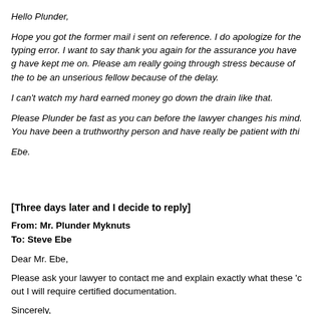Hello Plunder,
Hope you got the former mail i sent on reference. I do apologize for the typing error. I want to say thank you again for the assurance you have given, have kept me on. Please am really going through stress because of the delay, to be an unserious fellow because of the delay.
I can't watch my hard earned money go down the drain like that.
Please Plunder be fast as you can before the lawyer changes his mind. You have been a truthworthy person and have really be patient with this.
Ebe.
[Three days later and I decide to reply]
From: Mr. Plunder Myknuts
To: Steve Ebe
Dear Mr. Ebe,
Please ask your lawyer to contact me and explain exactly what these 'c out I will require certified documentation.
Sincerely,